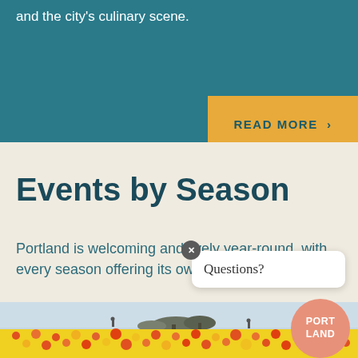and the city's culinary scene.
READ MORE ›
Events by Season
Portland is welcoming and lively year-round, with every season offering its own allures.
[Figure (photo): Field of yellow and orange flowers with trees and people in the background, under a pale sky]
Questions?